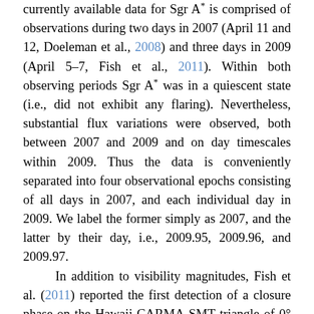currently available data for Sgr A* is comprised of observations during two days in 2007 (April 11 and 12, Doeleman et al., 2008) and three days in 2009 (April 5–7, Fish et al., 2011). Within both observing periods Sgr A* was in a quiescent state (i.e., did not exhibit any flaring). Nevertheless, substantial flux variations were observed, both between 2007 and 2009 and on day timescales within 2009. Thus the data is conveniently separated into four observational epochs consisting of all days in 2007, and each individual day in 2009. We label the former simply as 2007, and the latter by their day, i.e., 2009.95, 2009.96, and 2009.97.
In addition to visibility magnitudes, Fish et al. (2011) reported the first detection of a closure phase on the Hawaii-CARMA-SMT triangle of 0° ± 40°. Despite the large error bars, this is quite constraining due to the sensitivity of closure phases to the underlying source structure (Broderick et al., 2011a). Thus, we include this closure phase measurement in our parameter estimation